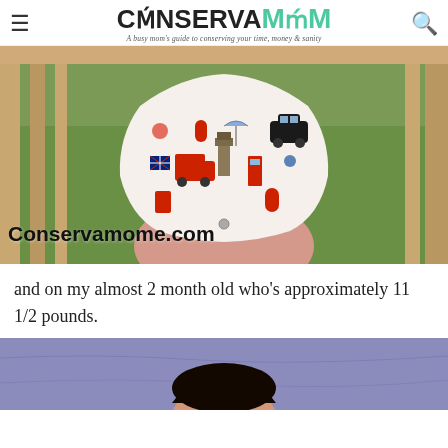ConservaMom — A busy mom's guide to conserving your time, money & sanity
[Figure (photo): Baby wearing a cloth diaper with London/British-themed pattern including red buses, Big Ben, Union Jacks, black cabs. Watermark text 'Conservamome.com' in bottom left.]
and on my almost 2 month old who's approximately 11 1/2 pounds.
[Figure (photo): Close-up photo of a baby's head lying on a purple/blue blanket, dark hair visible.]